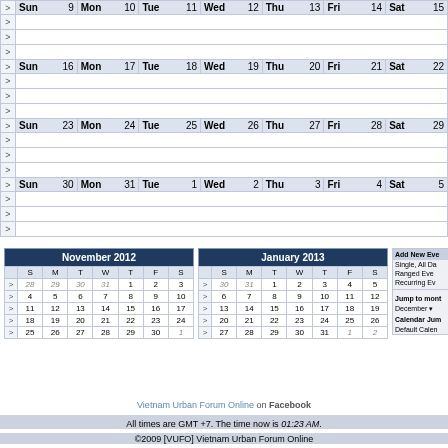|  | Sun |  | Mon |  | Tue |  | Wed |  | Thu |  | Fri |  | Sat |  |
| --- | --- | --- | --- | --- | --- | --- | --- | --- | --- | --- | --- | --- | --- | --- |
| > | Sun 9 |  | Mon 10 |  | Tue 11 |  | Wed 12 |  | Thu 13 |  | Fri 14 |  | Sat 15 |  |
| > | Sun 16 |  | Mon 17 |  | Tue 18 |  | Wed 19 |  | Thu 20 |  | Fri 21 |  | Sat 22 |  |
| > | Sun 23 |  | Mon 24 |  | Tue 25 |  | Wed 26 |  | Thu 27 |  | Fri 28 |  | Sat 29 |  |
| > | Sun 30 |  | Mon 31 |  | Tue 1 |  | Wed 2 |  | Thu 3 |  | Fri 4 |  | Sat 5 |  |
|  | S | M | T | W | T | F | S |
| --- | --- | --- | --- | --- | --- | --- | --- |
| > | 28 | 29 | 30 | 31 | 1 | 2 | 3 |
| > | 4 | 5 | 6 | 7 | 8 | 9 | 10 |
| > | 11 | 12 | 13 | 14 | 15 | 16 | 17 |
| > | 18 | 19 | 20 | 21 | 22 | 23 | 24 |
| > | 25 | 26 | 27 | 28 | 29 | 30 | 1 |
|  | S | M | T | W | T | F | S |
| --- | --- | --- | --- | --- | --- | --- | --- |
| > | 30 | 31 | 1 | 2 | 3 | 4 | 5 |
| > | 6 | 7 | 8 | 9 | 10 | 11 | 12 |
| > | 13 | 14 | 15 | 16 | 17 | 18 | 19 |
| > | 20 | 21 | 22 | 23 | 24 | 25 | 26 |
| > | 27 | 28 | 29 | 30 | 31 | 1 | 2 |
Add New Event: Single, All Day, Ranged Event, Recurring Event
Jump to month: December
Calendar Jump: Default Calendar
Vietnam Urban Forum Online on Facebook
All times are GMT +7. The time now is 01:23 AM.
©2009 [VUFO] Vietnam Urban Forum Online